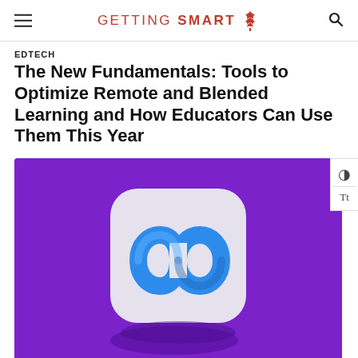GETTING SMART
EDTECH
The New Fundamentals: Tools to Optimize Remote and Blended Learning and How Educators Can Use Them This Year
[Figure (photo): 3D render of Meta (Facebook) logo – a white rounded-square tile with a blue infinity/loop symbol, set against a bright purple background]